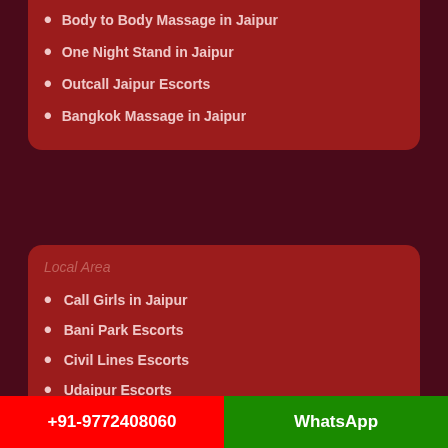Body to Body Massage in Jaipur
One Night Stand in Jaipur
Outcall Jaipur Escorts
Bangkok Massage in Jaipur
Local Area
Call Girls in Jaipur
Bani Park Escorts
Civil Lines Escorts
Udaipur Escorts
Jaisalmer Escorts
Ajmer Escorts
Durgapura Escorts
Lal Kothi Escorts
Jagatpura Escorts
Gopalpura Escorts
+91-9772408060   WhatsApp